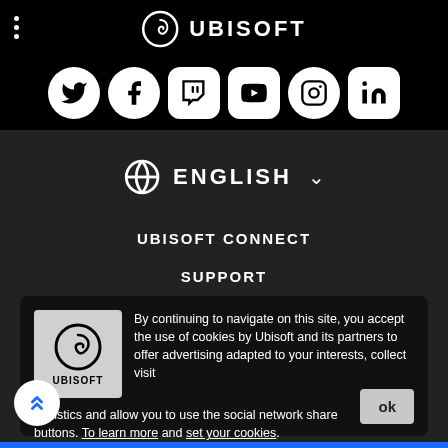[Figure (logo): Ubisoft logo with spiral icon and UBISOFT text in white on black background, with three-dot menu on left]
[Figure (infographic): Row of 6 social media icons (Twitter, Facebook, Twitch, YouTube, Instagram, LinkedIn) as white circles/squircles on black background]
[Figure (infographic): Globe icon followed by ENGLISH text and dropdown chevron]
UBISOFT CONNECT
SUPPORT
INVESTORS
PRESS
ABOUT US
By continuing to navigate on this site, you accept the use of cookies by Ubisoft and its partners to offer advertising adapted to your interests, collect visit statistics and allow you to use the social network share buttons. To learn more and set your cookies.